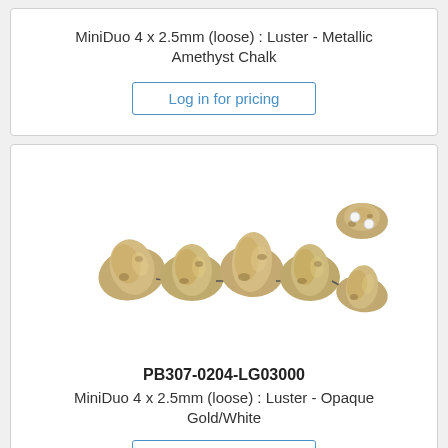MiniDuo 4 x 2.5mm (loose) : Luster - Metallic Amethyst Chalk
Log in for pricing
[Figure (photo): Photo of MiniDuo beads: Luster - Opaque Gold/White, showing five beads linked together and one bead shown separately from the side.]
PB307-0204-LG03000
MiniDuo 4 x 2.5mm (loose) : Luster - Opaque Gold/White
Log in for pricing